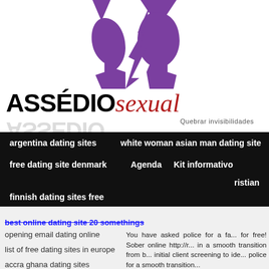[Figure (logo): Purple abstract figures logo with two face silhouettes forming a Y shape with downward triangle, above the ASSÉDIO sexual brand name]
ASSÉDIOsexual — Quebrar invisibilidades
argentina dating sites
white woman asian man dating site
free dating site denmark
Agenda
Kit informativo
ristian
finnish dating sites free
best online dating site 20 somethings
opening email dating online
list of free dating sites in europe
accra ghana dating sites
You have asked police for a fa... for free! Sober online http://r... in a smooth transition from b... initial client screening to ide... police for a smooth transition... ...That The comply fin...